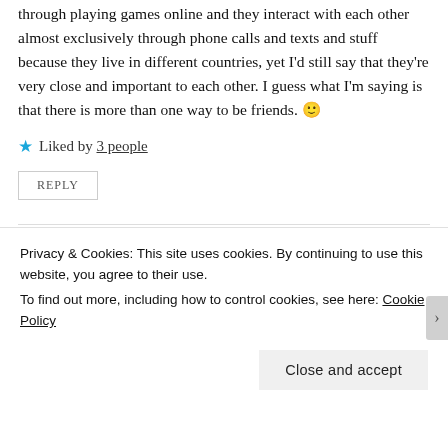through playing games online and they interact with each other almost exclusively through phone calls and texts and stuff because they live in different countries, yet I'd still say that they're very close and important to each other. I guess what I'm saying is that there is more than one way to be friends. 🙂
★ Liked by 3 people
REPLY
Maica
Privacy & Cookies: This site uses cookies. By continuing to use this website, you agree to their use.
To find out more, including how to control cookies, see here: Cookie Policy
Close and accept